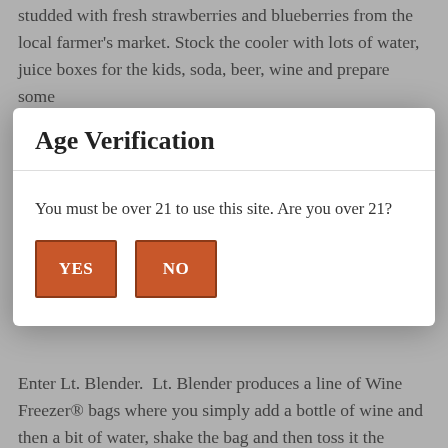studded with fresh strawberries and blueberries from the local farmer's market. Stock the cooler with lots of water, juice boxes for the kids, soda, beer, wine and prepare some
Age Verification
You must be over 21 to use this site. Are you over 21?
YES  NO
Enter Lt. Blender. Lt. Blender produces a line of Wine Freezer® bags where you simply add a bottle of wine and then a bit of water, shake the bag and then toss it the freezer until you are ready to serve it.
Each Lt. Blender's Wine Freezer® bag contains freeze dried fruit using NASA technology which has no artificial flavors, artificial colors and preservatives. They are also